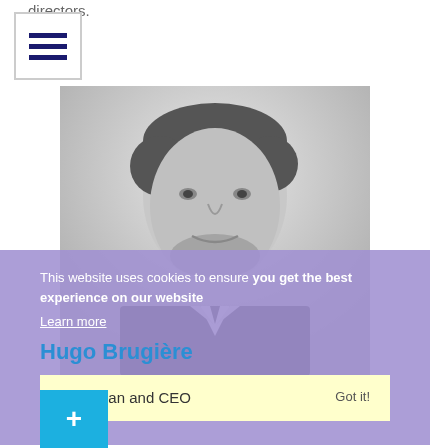directors.
[Figure (photo): Hamburger menu icon button with three horizontal dark blue bars on white background with border]
[Figure (photo): Black and white headshot portrait of Hugo Brugière, a man in a dark suit with a beard, looking at camera]
This website uses cookies to ensure you get the best experience on our website
Learn more
Hugo Brugière
Chairman and CEO
Got it!
[Figure (other): Blue button with white plus sign (+)]